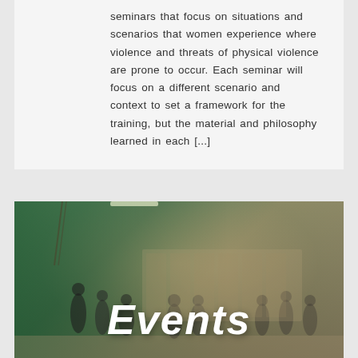seminars that focus on situations and scenarios that women experience where violence and threats of physical violence are prone to occur. Each seminar will focus on a different scenario and context to set a framework for the training, but the material and philosophy learned in each [...]
[Figure (photo): Indoor gym/martial arts training space with people sparring and training. Green tinted left side merging into warm-toned interior. Large bold white italic 'Events' text overlay at bottom center.]